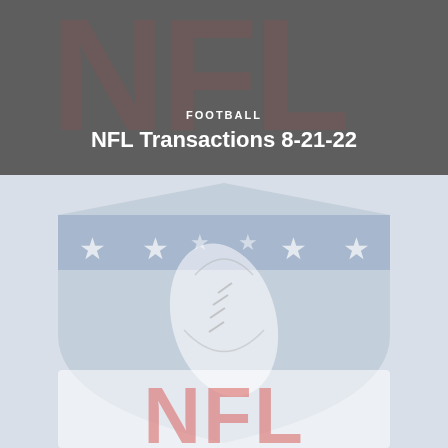[Figure (illustration): NFL logo shield graphic shown as dark background banner with reddish NFL letters visible through gray overlay at the top of the page]
FOOTBALL
NFL Transactions 8-21-22
[Figure (logo): NFL shield logo with blue/gray background showing stars, football, and red NFL letters at the bottom, displayed in a light washed-out style]